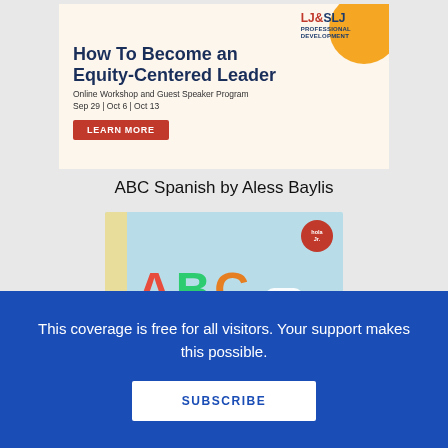[Figure (illustration): LJ & SLJ Professional Development advertisement banner for 'How To Become an Equity-Centered Leader' online workshop with colorful logo, orange blob decoration, headline, subtitle, dates (Sep 29 | Oct 6 | Oct 13), and a red LEARN MORE button on a cream background]
ABC Spanish by Aless Baylis
[Figure (illustration): Book cover for 'ABC Spanish' showing large colorful letters A (red), B (green), C (orange) on a light blue background with a yellow spine and a red circular badge in the top right corner]
This coverage is free for all visitors. Your support makes this possible.
SUBSCRIBE